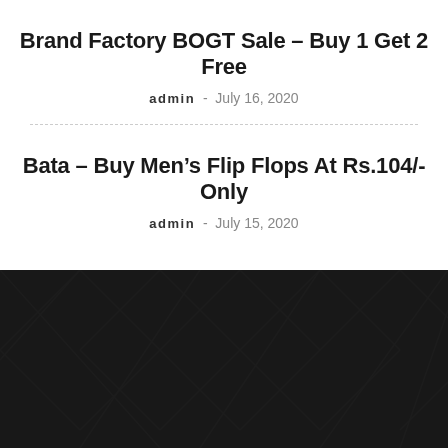Brand Factory BOGT Sale – Buy 1 Get 2 Free
admin - July 16, 2020
Bata – Buy Men's Flip Flops At Rs.104/- Only
admin - July 15, 2020
[Figure (illustration): Dark background with geometric angular pattern in dark grey/black tones, decorative footer section]